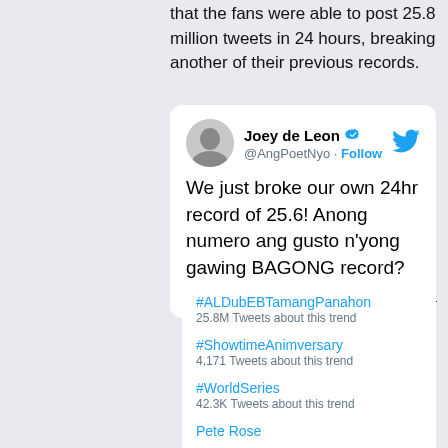that the fans were able to post 25.8 million tweets in 24 hours, breaking another of their previous records.
[Figure (screenshot): Tweet by Joey de Leon (@AngPoetNyo) with verified badge and Follow button. Tweet text reads: We just broke our own 24hr record of 25.6! Anong numero ang gusto n'yong gawing BAGONG record? #ALDubEBTamangPanahon. Below the tweet is an embedded trends box showing: #ALDubEBTamangPanahon (25.8M Tweets about this trend), #ShowtimeAnimversary (4,171 Tweets about this trend), #WorldSeries (42.3K Tweets about this trend), Pete Rose.]